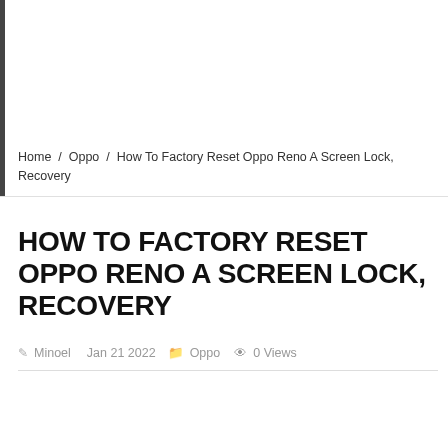Home / Oppo / How To Factory Reset Oppo Reno A Screen Lock, Recovery
HOW TO FACTORY RESET OPPO RENO A SCREEN LOCK, RECOVERY
Minoel   Jan 21 2022   Oppo   0 Views